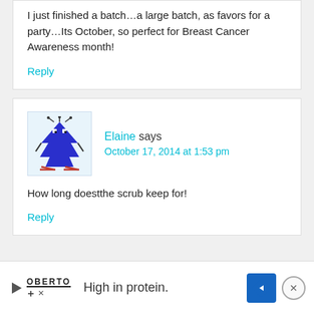I just finished a batch…a large batch, as favors for a party…Its October, so perfect for Breast Cancer Awareness month!
Reply
[Figure (illustration): Blue cartoon Christmas tree avatar with antennae and arms]
Elaine says
October 17, 2014 at 1:53 pm
How long doestthe scrub keep for!
Reply
[Figure (other): Advertisement bar: Oberto brand logo, 'High in protein.' text, blue diamond arrow icon, and close button]